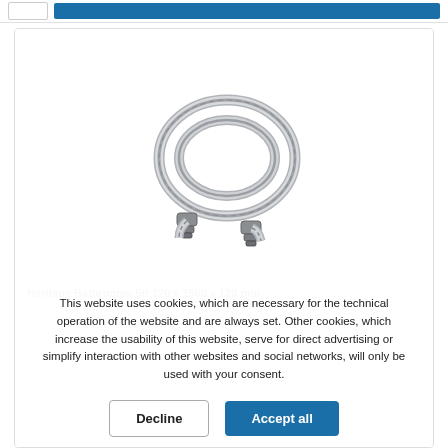[Figure (photo): Coiled stainless steel shower hose with chrome finish and two end connectors]
Heritage Bathrooms 5ft 120 x 1500 x 120 mm
This website uses cookies, which are necessary for the technical operation of the website and are always set. Other cookies, which increase the usability of this website, serve for direct advertising or simplify interaction with other websites and social networks, will only be used with your consent.
Decline
Accept all